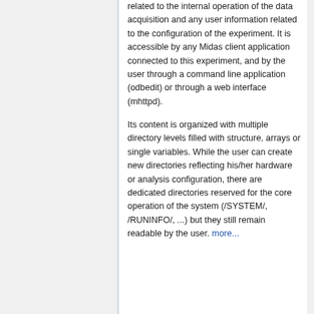related to the internal operation of the data acquisition and any user information related to the configuration of the experiment. It is accessible by any Midas client application connected to this experiment, and by the user through a command line application (odbedit) or through a web interface (mhttpd).
Its content is organized with multiple directory levels filled with structure, arrays or single variables. While the user can create new directories reflecting his/her hardware or analysis configuration, there are dedicated directories reserved for the core operation of the system (/SYSTEM/, /RUNINFO/, ...) but they still remain readable by the user. more...